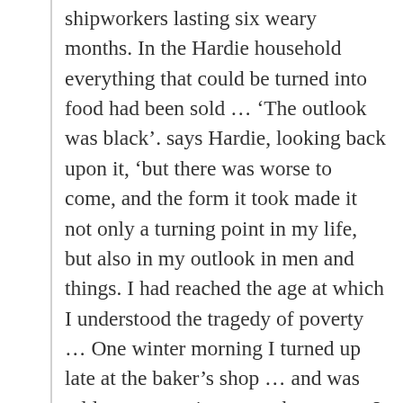shipworkers lasting six weary months. In the Hardie household everything that could be turned into food had been sold … 'The outlook was black'. says Hardie, looking back upon it, 'but there was worse to come, and the form it took made it not only a turning point in my life, but also in my outlook in men and things. I had reached the age at which I understood the tragedy of poverty … One winter morning I turned up late at the baker's shop … and was told to go upstairs to see the master. I was kept waiting outside the door of the dining-room while he said grace – he was